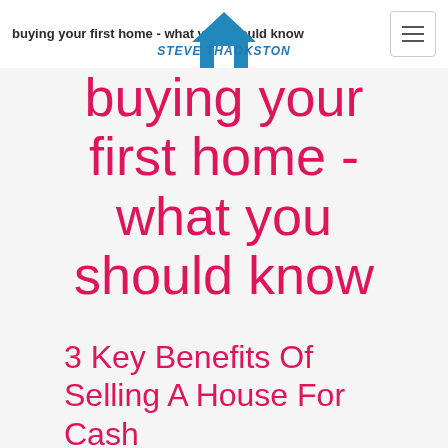buying your first home - what you should know
[Figure (logo): Blue house icon/logo]
STEVE THAOKSTON
buying your first home - what you should know
3 Key Benefits Of Selling A House For Cash